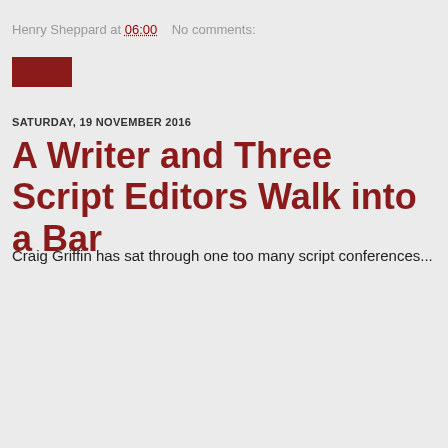Henry Sheppard at 06:00   No comments:
[Figure (other): Small dark red rectangular button/label]
SATURDAY, 19 NOVEMBER 2016
A Writer and Three Script Editors Walk into a Bar
Craig Griffin has sat through one too many script conferences...